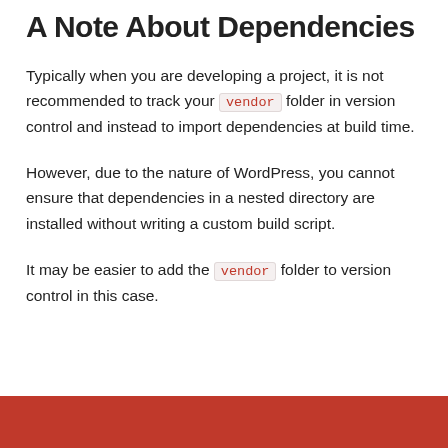A Note About Dependencies
Typically when you are developing a project, it is not recommended to track your vendor folder in version control and instead to import dependencies at build time.
However, due to the nature of WordPress, you cannot ensure that dependencies in a nested directory are installed without writing a custom build script.
It may be easier to add the vendor folder to version control in this case.